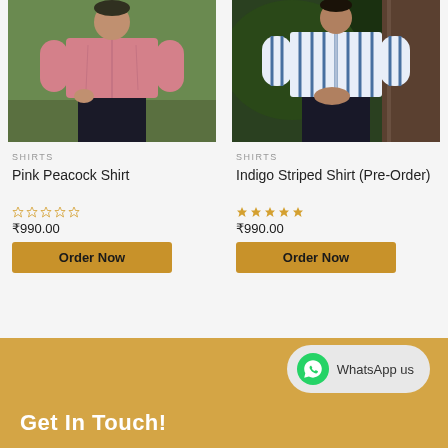[Figure (photo): Model wearing a pink peacock print shirt, photographed outdoors on green background]
[Figure (photo): Model wearing an indigo striped shirt, photographed outdoors near a tree]
SHIRTS
Pink Peacock Shirt
0 out of 5 stars (empty star rating)
₹990.00
Order Now
SHIRTS
Indigo Striped Shirt (Pre-Order)
5 out of 5 stars (full star rating)
₹990.00
Order Now
WhatsApp us
Get In Touch!